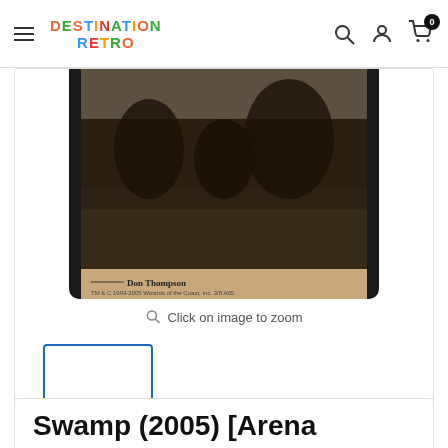DESTINATION RETRO
[Figure (photo): Magic: The Gathering card image showing a swamp land card, with artist credit 'Don Thompson' and copyright 'TM & C 1993-2005 Wizards of the Coast, Inc. 3/8 A05']
Click on image to zoom
[Figure (photo): Small thumbnail preview of the Swamp card with blue border selection indicator]
Swamp (2005) [Arena League 2005]